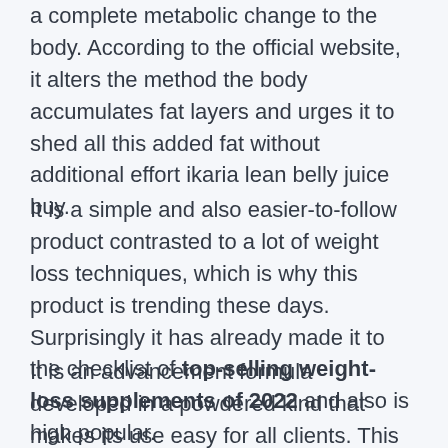a complete metabolic change to the body. According to the official website, it alters the method the body accumulates fat layers and urges it to shed all this added fat without additional effort ikaria lean belly juice buy.
It is a simple and also easier-to-follow product contrasted to a lot of weight loss techniques, which is why this product is trending these days. Surprisingly it has already made it to the checklist of top-selling weight-loss supplements of 2022 and also is high popular.
It is an advancement formula developed in a powdered kind that makes its use easy for all clients. This powder easily combines with water or any kind of beverage of your option. When inside